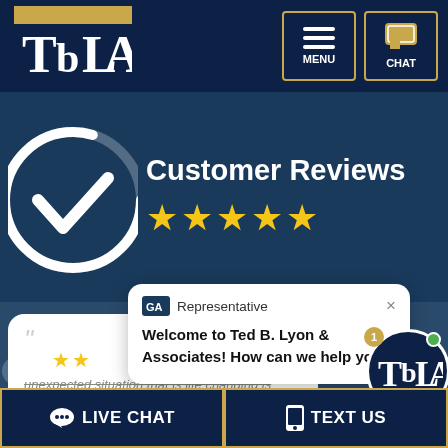[Figure (screenshot): TBLA law firm website screenshot showing navigation bar with logo, menu and chat buttons, Customer Reviews section with 5 stars, a review card with italic text about unexpected situation, and a chat popup saying 'Welcome to Ted B. Lyon & Associates! How can we help you?', plus footer with Live Chat and Text Us buttons]
Customer Reviews
Representative
Welcome to Ted B. Lyon & Associates! How can we help you?
unexpected situation that is life changing is dreadful. The stress and worry can be overwhelming.... read more
LIVE CHAT
TEXT US